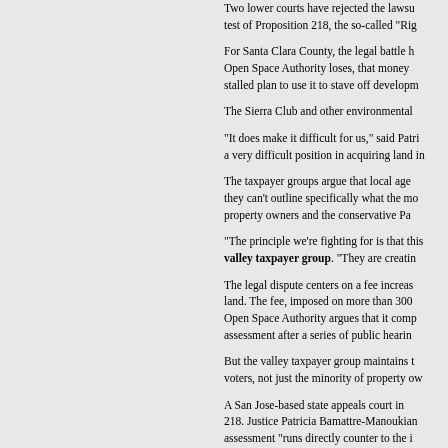Two lower courts have rejected the lawsuit, but the state Supreme Court agreed to take the case as a test of Proposition 218, the so-called "Right to Vote on Taxes Act."
For Santa Clara County, the legal battle has huge financial stakes. If the Santa Clara Valley Open Space Authority loses, that money -- about $7 million a year -- would be refunded, stalling a stalled plan to use it to stave off development in the hills.
The Sierra Club and other environmental groups have sided with the Open Space Authority.
"It does make it difficult for us," said Patricia Dowd, executive director. "It puts us in a very difficult position in acquiring land in the future."
The taxpayer groups argue that local agencies violated Proposition 218's requirement that they can't outline specifically what the money will be used for. The lawsuit is backed by property owners and the conservative Pacific Legal Foundation.
"The principle we're fighting for is that this is an illegal tax," said Jack Bingham of the valley taxpayer group. "They are creating a tax without a vote."
The legal dispute centers on a fee increase property owners pay to preserve open space land. The fee, imposed on more than 300,000 properties in Santa Clara County, raises Open Space Authority argues that it complied with Proposition 218, holding an assessment after a series of public hearings.
But the valley taxpayer group maintains that such fees should be approved by all voters, not just the minority of property owners who pay the assessment.
A San Jose-based state appeals court in 2003 sided with the authority on Proposition 218. Justice Patricia Bamattre-Manoukian wrote that the taxpayers' interpretation of assessment "runs directly counter to the intent of Proposition 218."
The valley taxpayer association lost a similar battle over a San Jose fee a decade ago that took six years to resolve. Cities and counties urged the California Supreme Court to uphold the assessments because of their dependence on such fees.
The bottom line?
"How far does this case go in terms of ch...